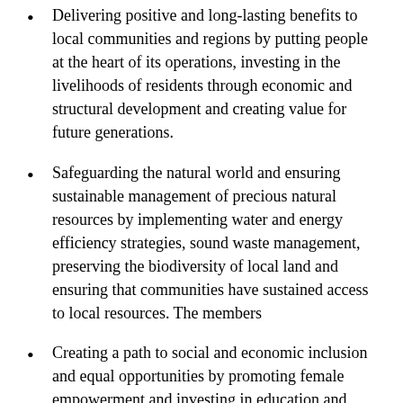Delivering positive and long-lasting benefits to local communities and regions by putting people at the heart of its operations, investing in the livelihoods of residents through economic and structural development and creating value for future generations.
Safeguarding the natural world and ensuring sustainable management of precious natural resources by implementing water and energy efficiency strategies, sound waste management, preserving the biodiversity of local land and ensuring that communities have sustained access to local resources. The members
Creating a path to social and economic inclusion and equal opportunities by promoting female empowerment and investing in education and specialised training for local communities.